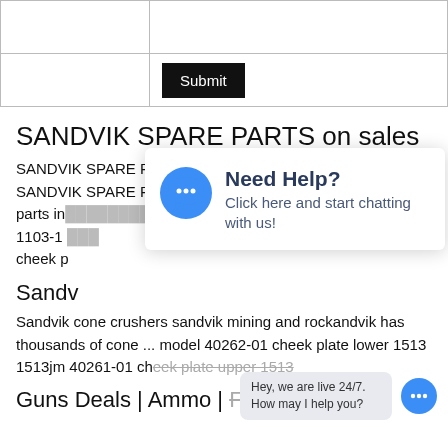|  |  |
|  | Submit |
SANDVIK SPARE PARTS on sales
SANDVIK SPARE PARTS, You can Buy good quality SANDVIK SPARE PARTS , we are Supply sandvik crusher parts inc[...] ving 1103-1 [...] 5-01 cheek p[...]
Sandv[...]
Sandvik cone crushers sandvik mining and rockandvik has thousands of cone ... model 40262-01 cheek plate lower 1513 1513jm 40261-01 cheek plate upper 1513
[Figure (other): Chat popup with 'Need Help? Click here and start chatting with us!' and a blue speech bubble icon]
[Figure (other): Live chat bubble saying 'Hey, we are live 24/7. How may I help you?' with blue chat icon]
Guns Deals | Ammo | Firearm Parts